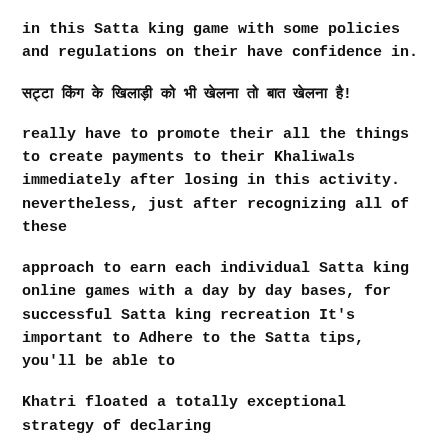in this Satta king game with some policies and regulations on their have confidence in.
सट्टा किंग के खिलाड़ी को भी खेलना तो बात खेलना है!
really have to promote their all the things to create payments to their Khaliwals immediately after losing in this activity. nevertheless, just after recognizing all of these
approach to earn each individual Satta king online games with a day by day bases, for successful Satta king recreation It's important to Adhere to the Satta tips, you'll be able to
Khatri floated a totally exceptional strategy of declaring